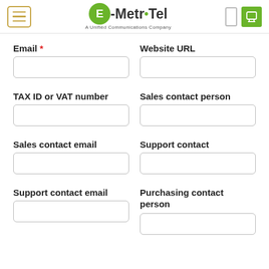[Figure (logo): E-MetroTel logo — green circle with E, followed by -Metr•Tel text, subtitle: A Unified Communications Company]
Email *
Website URL
TAX ID or VAT number
Sales contact person
Sales contact email
Support contact
Support contact email
Purchasing contact person